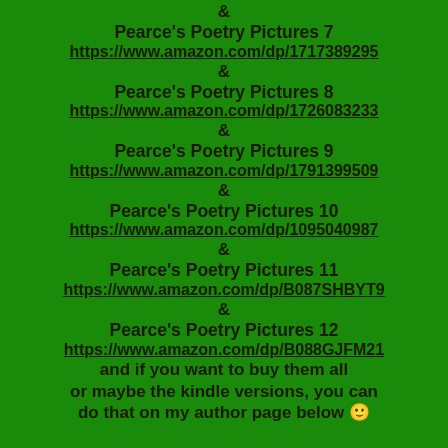&
Pearce's Poetry Pictures 7
https://www.amazon.com/dp/1717389295
&
Pearce's Poetry Pictures 8
https://www.amazon.com/dp/1726083233
&
Pearce's Poetry Pictures 9
https://www.amazon.com/dp/1791399509
&
Pearce's Poetry Pictures 10
https://www.amazon.com/dp/1095040987
&
Pearce's Poetry Pictures 11
https://www.amazon.com/dp/B087SHBYT9
&
Pearce's Poetry Pictures 12
https://www.amazon.com/dp/B088GJFM21
and if you want to buy them all or maybe the kindle versions,  you can do that on my author page below 🙂